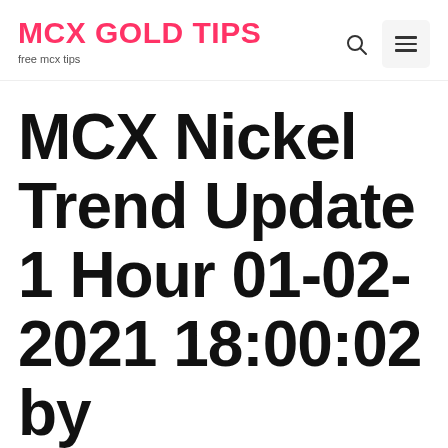MCX GOLD TIPS – free mcx tips
MCX Nickel Trend Update 1 Hour 01-02-2021 18:00:02 by